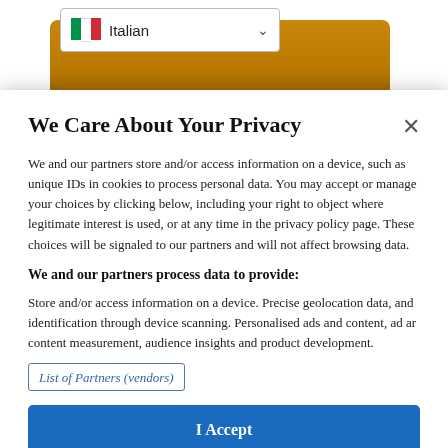[Figure (screenshot): Screenshot of a webpage with a language dropdown showing Italian flag and 'Italian' text, and a brown medicine bottle partially visible in the background.]
We Care About Your Privacy
We and our partners store and/or access information on a device, such as unique IDs in cookies to process personal data. You may accept or manage your choices by clicking below, including your right to object where legitimate interest is used, or at any time in the privacy policy page. These choices will be signaled to our partners and will not affect browsing data.
We and our partners process data to provide:
Store and/or access information on a device. Precise geolocation data, and identification through device scanning. Personalised ads and content, ad and content measurement, audience insights and product development.
List of Partners (vendors)
I Accept
Reject All